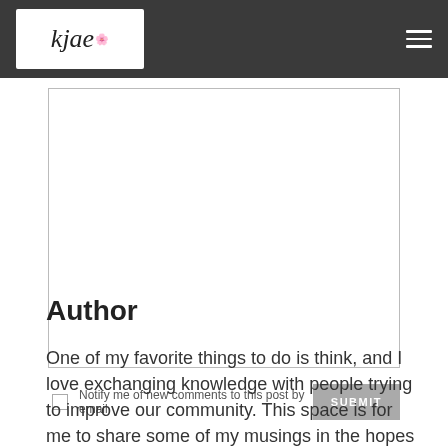kjae [logo] with hamburger menu
[Figure (screenshot): Comment text area input box, empty]
Notify me of new comments to this post by email  SUBMIT
Author
One of my favorite things to do is think, and I love exchanging knowledge with people trying to improve our community. This space is for me to share some of my musings in the hopes of adding more layers to our